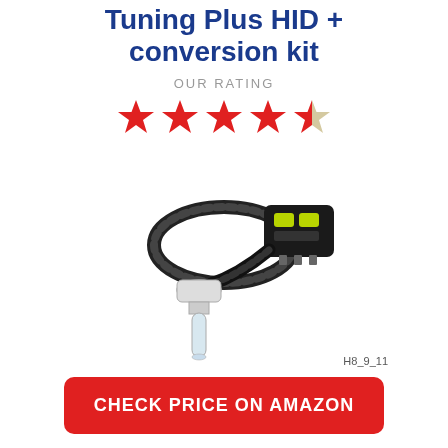Tuning Plus HID + conversion kit
OUR RATING
[Figure (illustration): Star rating showing 4.5 out of 5 stars — four full red stars and one half red/grey star]
[Figure (photo): Product photo of an HID conversion kit showing a bulb and wiring harness connector on white background, labeled H8_9_11]
H8_9_11
CHECK PRICE ON AMAZON